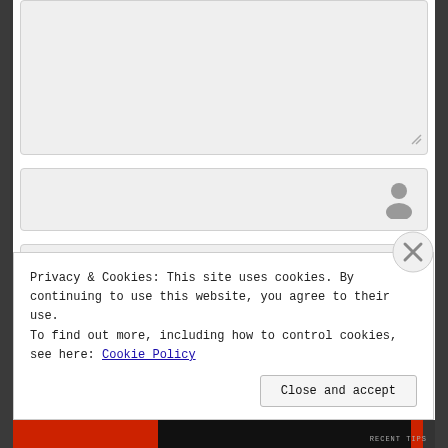[Figure (screenshot): Large textarea input field with resize handle in bottom-right corner, grey background]
[Figure (screenshot): Name input field with grey user/person icon on the right]
[Figure (screenshot): Email input field with grey envelope icon on the right]
[Figure (screenshot): Website input field with grey house/website icon on the right, partially visible]
Privacy & Cookies: This site uses cookies. By continuing to use this website, you agree to their use.
To find out more, including how to control cookies, see here: Cookie Policy
Close and accept